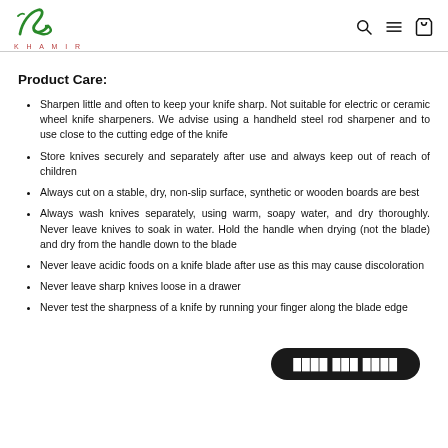KHAMIR logo with navigation icons (search, menu, cart)
Product Care:
Sharpen little and often to keep your knife sharp. Not suitable for electric or ceramic wheel knife sharpeners. We advise using a handheld steel rod sharpener and to use close to the cutting edge of the knife
Store knives securely and separately after use and always keep out of reach of children
Always cut on a stable, dry, non-slip surface, synthetic or wooden boards are best
Always wash knives separately, using warm, soapy water, and dry thoroughly. Never leave knives to soak in water. Hold the handle when drying (not the blade) and dry from the handle down to the blade
Never leave acidic foods on a knife blade after use as this may cause discoloration
Never leave sharp knives loose in a drawer
Never test the sharpness of a knife by running your finger along the blade edge